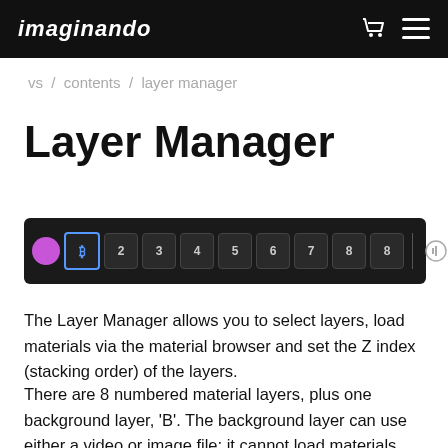imaginando
vs / contents / layer manager
Layer Manager
[Figure (screenshot): Layer Manager toolbar showing a pink/purple circle (background layer), numbered layer buttons 1-8, a separator, and three icon buttons for play, grid, and waveform controls on a dark background.]
The Layer Manager allows you to select layers, load materials via the material browser and set the Z index (stacking order) of the layers.
There are 8 numbered material layers, plus one background layer, 'B'. The background layer can use either a video or image file; it cannot load materials.